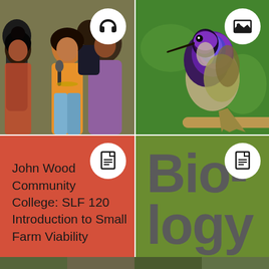[Figure (photo): Group of people outdoors, a woman in orange shirt singing into a microphone, others around her, chain-link fence background. Headphones icon in top-right corner.]
[Figure (photo): Close-up of a hummingbird with iridescent purple/blue plumage perched on a branch against green background. Landscape/photo icon in top-right corner.]
John Wood Community College: SLF 120 Introduction to Small Farm Viability
[Figure (illustration): Red/coral background panel with document icon at top center and text 'John Wood Community College: SLF 120 Introduction to Small Farm Viability']
[Figure (illustration): Olive green background panel with document icon at top center and large bold gray text reading 'Bio-logy']